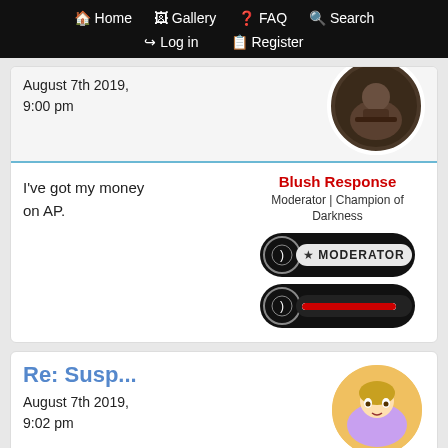Home  Gallery  FAQ  Search  Log in  Register
August 7th 2019, 9:00 pm
I've got my money on AP.
Blush Response
Moderator | Champion of Darkness
[Figure (illustration): MODERATOR badge and lightsaber rank bar]
Re: Susp...
August 7th 2019, 9:02 pm